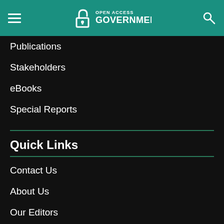Open Access Government
Publications
Stakeholders
eBooks
Special Reports
Quick Links
Contact Us
About Us
Our Editors
Our Audience
Prestige Contributors
Testimonials